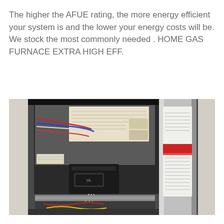The higher the AFUE rating, the more energy efficient your system is and the lower your energy costs will be. We stock the most commonly needed . HOME GAS FURNACE EXTRA HIGH EFF.
[Figure (photo): Interior view of an open home gas furnace unit showing wiring, electrical components, a black transformer/component, white and colored wires, and a cylindrical silver metal flue pipe on the right side with white warning labels.]